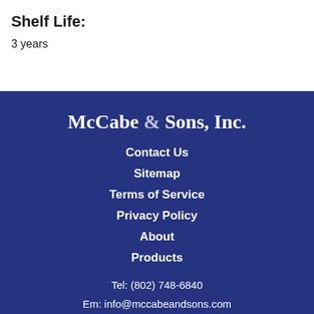Shelf Life:
3 years
McCabe & Sons, Inc.
Contact Us
Sitemap
Terms of Service
Privacy Policy
About
Products
Tel: (802) 748-6840
Em: info@mccabeandsons.com